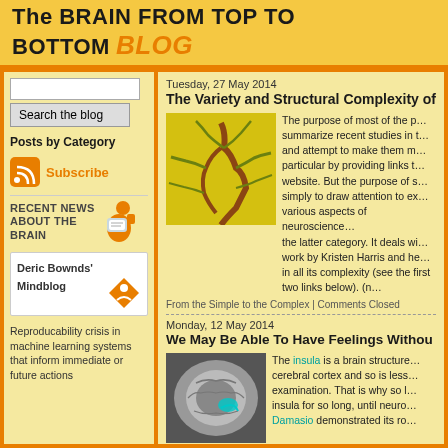The BRAIN FROM TOP TO BOTTOM BLOG
[Figure (screenshot): Search input box for blog]
Search the blog
Posts by Category
[Figure (logo): RSS subscribe icon with orange subscribe text]
RECENT NEWS ABOUT THE BRAIN
Deric Bownds' Mindblog
Reproducability crisis in machine learning systems that inform immediate or future actions
Tuesday, 27 May 2014
The Variety and Structural Complexity of
[Figure (photo): Yellow background image showing orange/brown dendritic/neural branching structure]
The purpose of most of the p… summarize recent studies in t… and attempt to make them m… particular by providing links t… website. But the purpose of s… simply to draw attention to ex… various aspects of neuroscience… the latter category. It deals wi… work by Kristen Harris and he… in all its complexity (see the first two links below). (n…
From the Simple to the Complex | Comments Closed
Monday, 12 May 2014
We May Be Able To Have Feelings Withou
[Figure (photo): MRI brain scan image in grayscale with cyan/teal highlighted region]
The insula is a brain structure… cerebral cortex and so is less… examination. That is why so l… insula for so long, until neuro… Damasio demonstrated its ro…